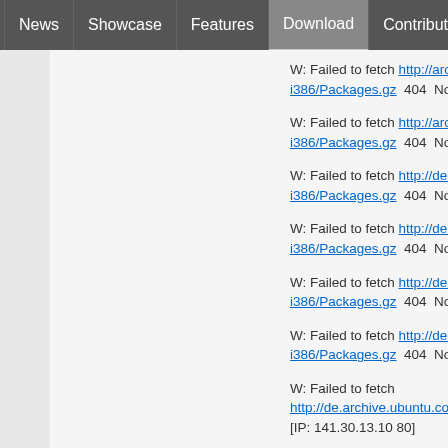News | Showcase | Features | Download | Contribute | Support
Around The World
W: Failed to fetch http://archive.ubuntu.co... i386/Packages.gz  404  Not Found [IP: 9...]
W: Failed to fetch http://archive.ubuntu.co... i386/Packages.gz  404  Not Found [IP: 9...]
W: Failed to fetch http://de.archive.ubuntu... i386/Packages.gz  404  Not Found [IP: 14...]
W: Failed to fetch http://de.archive.ubuntu... i386/Packages.gz  404  Not Found [IP: 14...]
W: Failed to fetch http://de.archive.ubuntu... i386/Packages.gz  404  Not Found [IP: 14...]
W: Failed to fetch http://de.archive.ubuntu... i386/Packages.gz  404  Not Found [IP: 14...]
W: Failed to fetch http://de.archive.ubuntu.com/ubuntu/dists... [IP: 141.30.13.10 80]
W: Failed to fetch http://de.archive.ubuntu.com/ubuntu/dists...